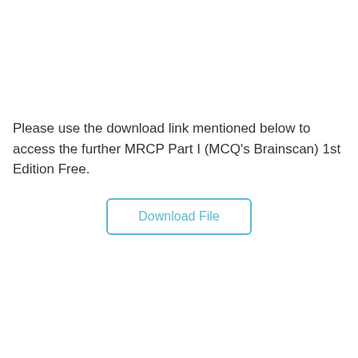Please use the download link mentioned below to access the further MRCP Part I (MCQ's Brainscan) 1st Edition Free.
Download File